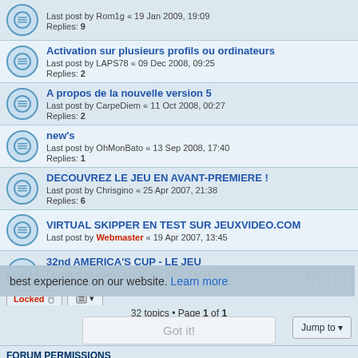Last post by Rom1g « 19 Jan 2009, 19:09 | Replies: 9
Activation sur plusieurs profils ou ordinateurs | Last post by LAPS78 « 09 Dec 2008, 09:25 | Replies: 2
A propos de la nouvelle version 5 | Last post by CarpeDiem « 11 Oct 2008, 00:27 | Replies: 2
new's | Last post by OhMonBato « 13 Sep 2008, 17:40 | Replies: 1
DECOUVREZ LE JEU EN AVANT-PREMIERE ! | Last post by Chrisgino « 25 Apr 2007, 21:38 | Replies: 6
VIRTUAL SKIPPER EN TEST SUR JEUXVIDEO.COM | Last post by Webmaster « 19 Apr 2007, 13:45
32nd AMERICA'S CUP - LE JEU | Last post by calexico « 19 Apr 2007, 06:36 | Replies: 18
This website uses cookies to ensure you get the best experience on our website. Learn more
Got it!
Locked
32 topics • Page 1 of 1
Jump to
FORUM PERMISSIONS